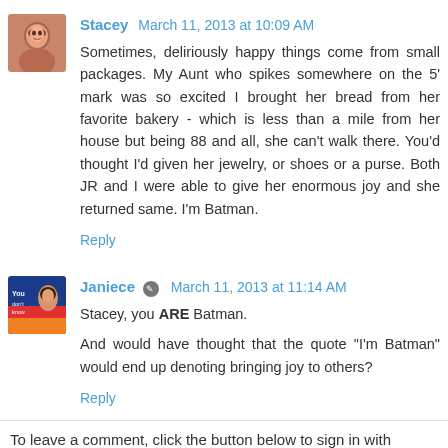[Figure (photo): Avatar photo of Stacey, a woman with brown hair]
Stacey March 11, 2013 at 10:09 AM
Sometimes, deliriously happy things come from small packages. My Aunt who spikes somewhere on the 5' mark was so excited I brought her bread from her favorite bakery - which is less than a mile from her house but being 88 and all, she can't walk there. You'd thought I'd given her jewelry, or shoes or a purse. Both JR and I were able to give her enormous joy and she returned same. I'm Batman.
Reply
[Figure (photo): Avatar image of Janiece with colorful book/logo background]
Janiece March 11, 2013 at 11:14 AM
Stacey, you ARE Batman.
And would have thought that the quote "I'm Batman" would end up denoting bringing joy to others?
Reply
To leave a comment, click the button below to sign in with